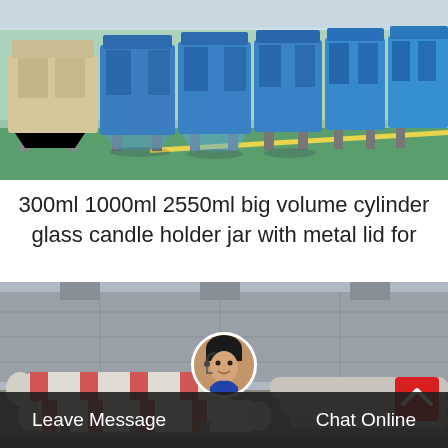[Figure (photo): Industrial machinery — row of large blue machines/crushers in a factory/warehouse with green floor]
300ml 1000ml 2550ml big volume cylinder glass candle holder jar with metal lid for
[Figure (photo): Outdoor industrial equipment — large cylindrical/pipe machinery in a yard with concrete wall background]
Leave Message   Chat Online